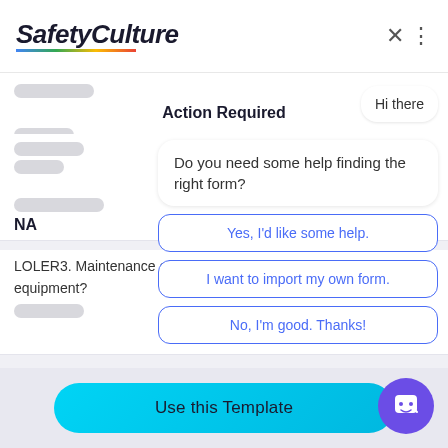[Figure (screenshot): SafetyCulture app screenshot showing a form inspection interface with a chatbot overlay. The chatbot has messages: 'Hi there', 'Do you need some help finding the right form?', and buttons: 'Yes, I'd like some help.', 'I want to import my own form.', 'No, I'm good. Thanks!' The form shows entries with 'Action Required', 'NA', 'LOLER3. Mainten... equipment?', 'Compliant'. Bottom has 'Use this Template' button.]